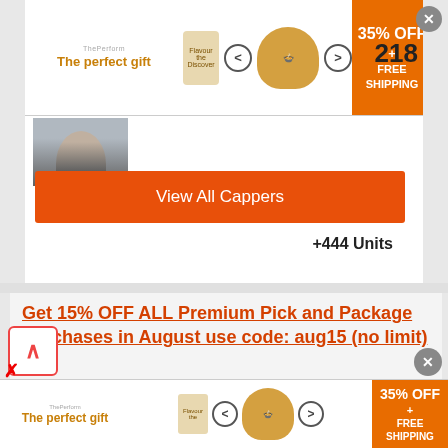[Figure (screenshot): Top advertisement banner showing 'The perfect gift' with food imagery, carousel arrows, and '35% OFF + FREE SHIPPING' orange promo box, plus '218' number and close button]
+444 Units
[Figure (photo): Photo of a man in suit]
View All Cappers
Get 15% OFF ALL Premium Pick and Package Purchases in August use code: aug15 (no limit) !!!!!
Looking at the betting trends, the Pelicans are 0-5 ATS in their last five road games and 0-4 ATS in their last four games overall. The Magic are 1-4 ATS in their last five home games and 1-5 ATS in their last six games overall.
[Figure (screenshot): Bottom advertisement banner showing 'The perfect gift' with food imagery, carousel arrows, and '35% OFF + FREE SHIPPING' orange promo box]